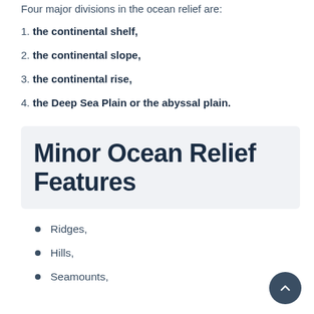Four major divisions in the ocean relief are:
1. the continental shelf,
2. the continental slope,
3. the continental rise,
4. the Deep Sea Plain or the abyssal plain.
Minor Ocean Relief Features
Ridges,
Hills,
Seamounts,
Guyots,
Trenches,